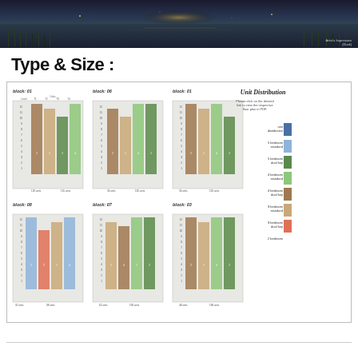[Figure (photo): Night-time landscape photo showing a reflective pond/lake with reeds and ambient golden lighting, with 'Artist's Impression' caption overlay]
Type & Size :
[Figure (infographic): Unit distribution diagram showing 6 block charts (block 01, block 06, block 01, block 08, block 07, block 03) with colored column charts showing unit distribution by floor, and a legend on the right showing: unit distribution, 5 bedroom standard (dark blue), 5 bedroom dual key (light blue), 4 bedroom standard (dark green), 4 bedroom dual key (light green), 3 bedroom standard (brown), 3 bedroom dual key (tan), 2 bedroom (orange-red)]